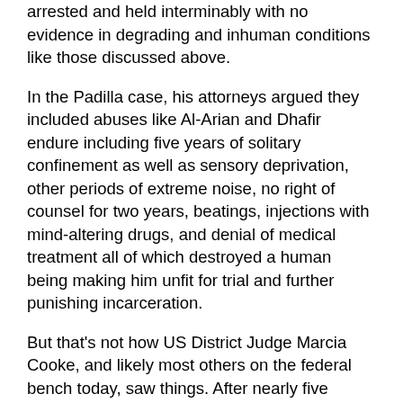arrested and held interminably with no evidence in degrading and inhuman conditions like those discussed above.
In the Padilla case, his attorneys argued they included abuses like Al-Arian and Dhafir endure including five years of solitary confinement as well as sensory deprivation, other periods of extreme noise, no right of counsel for two years, beatings, injections with mind-altering drugs, and denial of medical treatment all of which destroyed a human being making him unfit for trial and further punishing incarceration.
But that's not how US District Judge Marcia Cooke, and likely most others on the federal bench today, saw things. After nearly five punishing years of incarceration based on nothing more than charges filed with no corroborating evidence, she ruled on March 23, Padilla is competent to stand trial even though he's been turned to mush and likely is innocent of all charges. Jose Padilla along with Sami Al-Arian and Rafil